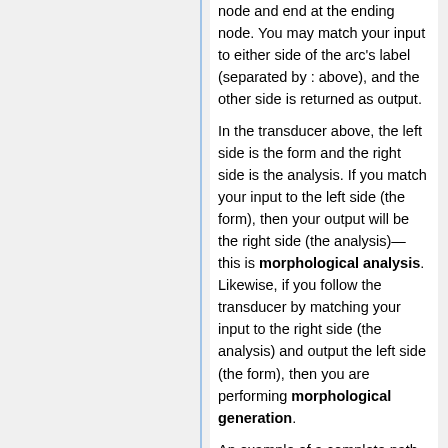node and end at the ending node. You may match your input to either side of the arc's label (separated by : above), and the other side is returned as output.
In the transducer above, the left side is the form and the right side is the analysis. If you match your input to the left side (the form), then your output will be the right side (the analysis)—this is morphological analysis. Likewise, if you follow the transducer by matching your input to the right side (the analysis) and output the left side (the form), then you are performing morphological generation.
An example of a complete path is w:w o:o l:l v:f e:<n> s:<pl>. The left/form side of this spells wolves and the right/analysis side of this spells